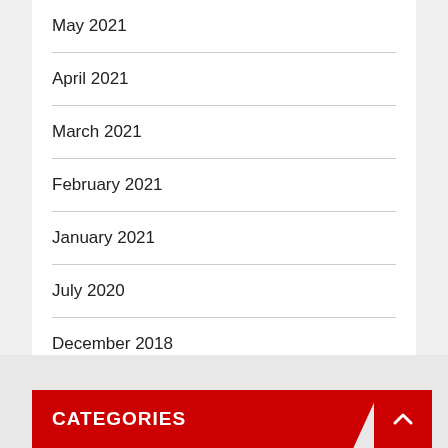May 2021
April 2021
March 2021
February 2021
January 2021
July 2020
December 2018
CATEGORIES